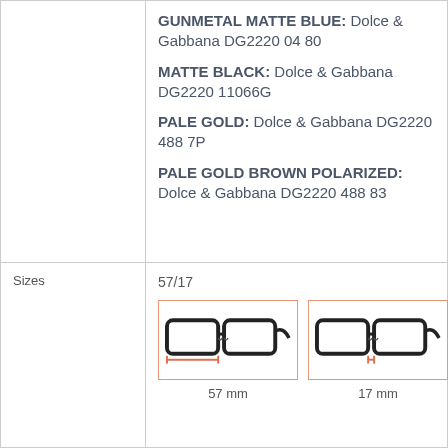|  | Color / Size Details |
| --- | --- |
|  | GUNMETAL MATTE BLUE: Dolce & Gabbana DG2220 04 80
MATTE BLACK: Dolce & Gabbana DG2220 11066G
PALE GOLD: Dolce & Gabbana DG2220 488 7P
PALE GOLD BROWN POLARIZED: Dolce & Gabbana DG2220 488 83 |
| Sizes | 57/17
[glasses diagrams] 57 mm | 17 mm |
[Figure (illustration): Two eyeglass frame diagrams showing measurements: left frame labeled 57 mm (lens width), right frame labeled 17 mm (bridge width), each shown with an orange measurement bracket.]